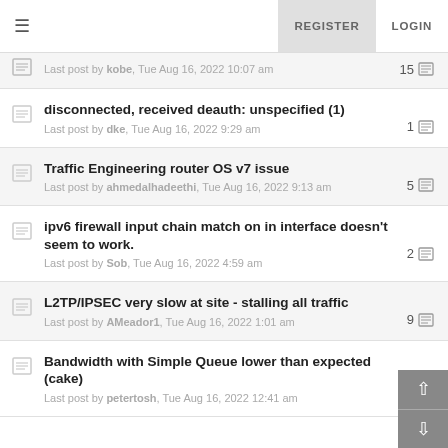≡  REGISTER  LOGIN
Last post by kobe, Tue Aug 16, 2022 10:07 am | 15
disconnected, received deauth: unspecified (1)
Last post by dke, Tue Aug 16, 2022 9:29 am | 1
Traffic Engineering router OS v7 issue
Last post by ahmedalhadeethi, Tue Aug 16, 2022 9:13 am | 5
ipv6 firewall input chain match on in interface doesn't seem to work.
Last post by Sob, Tue Aug 16, 2022 4:59 am | 2
L2TP/IPSEC very slow at site - stalling all traffic
Last post by AMeador1, Tue Aug 16, 2022 1:01 am | 9
Bandwidth with Simple Queue lower than expected (cake)
Last post by petertosh, Tue Aug 16, 2022 12:41 am | 4